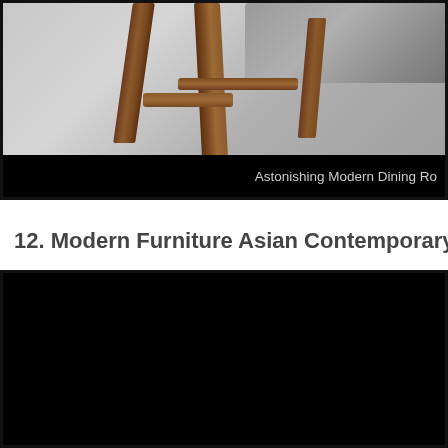[Figure (photo): Close-up photo of wooden dining chair legs and crossbars with gray upholstered cushion visible at top right, against a light gray/white textured background. The wood is dark walnut-toned. Black border surrounds the image.]
Astonishing Modern Dining Ro...
12. Modern Furniture Asian Contemporary Dining...
[Figure (photo): Mostly black image, partially visible photo of a modern Asian contemporary dining room furniture setting. Image appears very dark.]